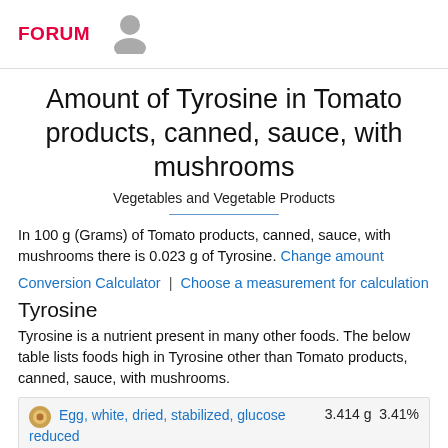FORUM
Amount of Tyrosine in Tomato products, canned, sauce, with mushrooms
Vegetables and Vegetable Products
In 100 g (Grams) of Tomato products, canned, sauce, with mushrooms there is 0.023 g of Tyrosine. Change amount
Conversion Calculator | Choose a measurement for calculation
Tyrosine
Tyrosine is a nutrient present in many other foods. The below table lists foods high in Tyrosine other than Tomato products, canned, sauce, with mushrooms.
Egg, white, dried, stabilized, glucose reduced   3.414 g  3.41%